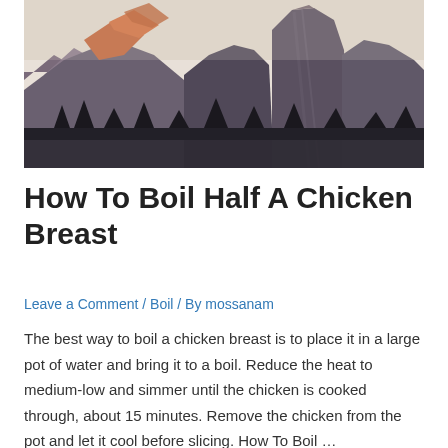[Figure (photo): Photograph of a rocky mountain with orange/red-lit peak under a pale sky, dark forested valley below, resembling Yosemite Half Dome at sunset.]
How To Boil Half A Chicken Breast
Leave a Comment / Boil / By mossanam
The best way to boil a chicken breast is to place it in a large pot of water and bring it to a boil. Reduce the heat to medium-low and simmer until the chicken is cooked through, about 15 minutes. Remove the chicken from the pot and let it cool before slicing. How To Boil …